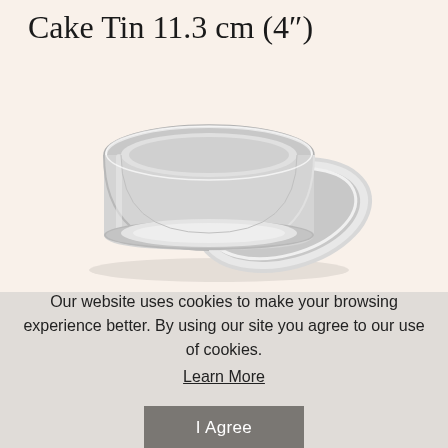Cake Tin 11.3 cm (4")
[Figure (photo): A round silver/aluminium loose-bottom cake tin with its removable base plate leaning against it, photographed on a light background.]
Our website uses cookies to make your browsing experience better. By using our site you agree to our use of cookies.
Learn More
I Agree